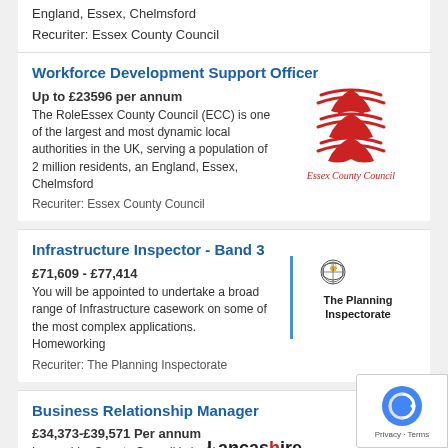England, Essex, Chelmsford
Recuriter: Essex County Council
Workforce Development Support Officer
Up to £23596 per annum
The RoleEssex County Council (ECC) is one of the largest and most dynamic local authorities in the UK, serving a population of 2 million residents, an England, Essex, Chelmsford
Recuriter: Essex County Council
[Figure (logo): Essex County Council logo with three red swords symbol and text]
Infrastructure Inspector - Band 3
£71,609 - £77,414
You will be appointed to undertake a broad range of Infrastructure casework on some of the most complex applications. Homeworking
Recuriter: The Planning Inspectorate
[Figure (logo): The Planning Inspectorate logo with royal crest]
Business Relationship Manager
£34,373-£39,571 Per annum
Lancashire County Council is looking for a
[Figure (logo): Lancashire County Council logo]
[Figure (logo): reCAPTCHA badge with Privacy and Terms]